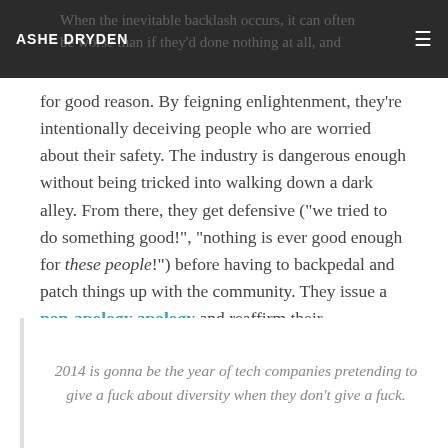ASHE DRYDEN
When the inevitable backlash occurs, it can often be worse than if they'd done nothing at all, and for good reason. By feigning enlightenment, they're intentionally deceiving people who are worried about their safety. The industry is dangerous enough without being tricked into walking down a dark alley. From there, they get defensive ("we tried to do something good!", "nothing is ever good enough for these people!") before having to backpedal and patch things up with the community. They issue a non-apology apology and reaffirm their commitment to diversity by making a donation to a non-profit.
2014 is gonna be the year of tech companies pretending to give a fuck about diversity when they don't give a fuck.